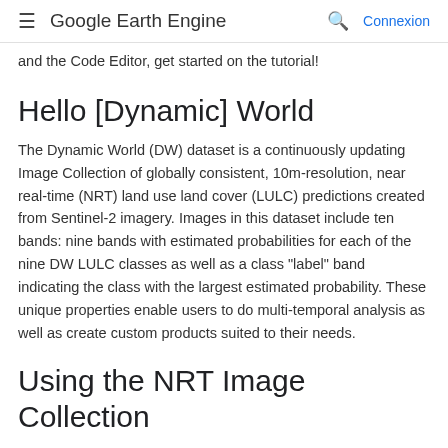≡ Google Earth Engine  🔍  Connexion
and the Code Editor, get started on the tutorial!
Hello [Dynamic] World
The Dynamic World (DW) dataset is a continuously updating Image Collection of globally consistent, 10m-resolution, near real-time (NRT) land use land cover (LULC) predictions created from Sentinel-2 imagery. Images in this dataset include ten bands: nine bands with estimated probabilities for each of the nine DW LULC classes as well as a class "label" band indicating the class with the largest estimated probability. These unique properties enable users to do multi-temporal analysis as well as create custom products suited to their needs.
Using the NRT Image Collection